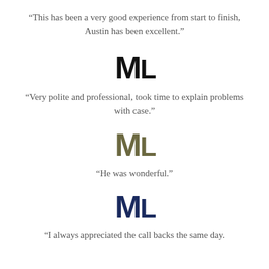“This has been a very good experience from start to finish, Austin has been excellent.”
[Figure (logo): ML monogram logo in black bold letters]
“Very polite and professional, took time to explain problems with case.”
[Figure (logo): ML monogram logo in olive/dark tan bold letters]
“He was wonderful.”
[Figure (logo): ML monogram logo in dark navy bold letters]
“I always appreciated the call backs the same day.